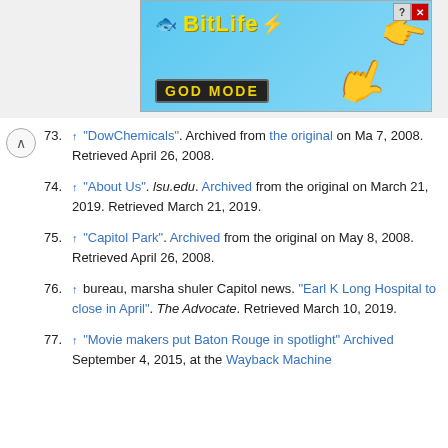[Figure (screenshot): BitLife game advertisement banner with 'NOW WITH GOD MODE' text on blue background]
73. ^ "DowChemicals". Archived from the original on May 7, 2008. Retrieved April 26, 2008.
74. ^ "About Us". lsu.edu. Archived from the original on March 21, 2019. Retrieved March 21, 2019.
75. ^ "Capitol Park". Archived from the original on May 8, 2008. Retrieved April 26, 2008.
76. ^ bureau, marsha shuler Capitol news. "Earl K Long Hospital to close in April". The Advocate. Retrieved March 10, 2019.
77. ^ "Movie makers put Baton Rouge in spotlight" Archived September 4, 2015, at the Wayback Machine